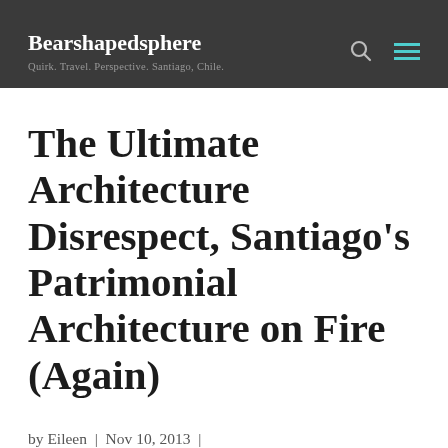Bearshapedsphere — Quirk. Travel. Perspective. Santiago, Chile.
The Ultimate Architecture Disrespect, Santiago's Patrimonial Architecture on Fire (Again)
by Eileen | Nov 10, 2013 | photography, santiago, Uncategorized | 9 comments